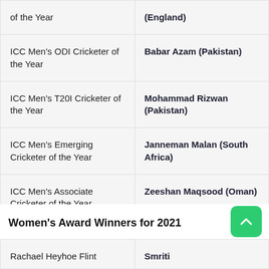| Award | Winner |
| --- | --- |
| of the Year | (England) |
| ICC Men's ODI Cricketer of the Year | Babar Azam (Pakistan) |
| ICC Men's T20I Cricketer of the Year | Mohammad Rizwan (Pakistan) |
| ICC Men's Emerging Cricketer of the Year | Janneman Malan (South Africa) |
| ICC Men's Associate Cricketer of the Year | Zeeshan Maqsood (Oman) |
Women's Award Winners for 2021
| Award | Winner |
| --- | --- |
| Rachael Heyhoe Flint | Smriti |